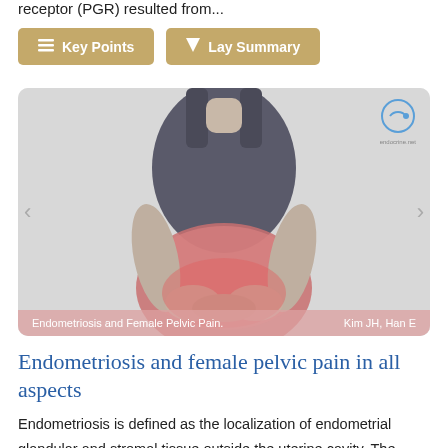receptor (PGR) resulted from...
Key Points   Lay Summary
[Figure (photo): Black and white photo of a woman in a dark top holding her lower abdomen area, shown from chin to mid-thigh. The pelvic region is highlighted in red/pink suggesting pain. Caption bar reads: 'Endometriosis and Female Pelvic Pain.   Kim JH, Han E']
Endometriosis and female pelvic pain in all aspects
Endometriosis is defined as the localization of endometrial glandular and stromal tissue outside the uterine cavity. The prevalence of the disease ranges